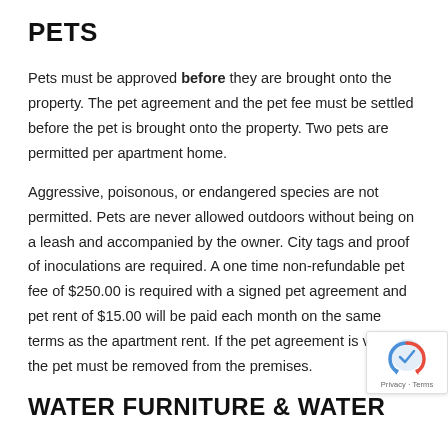PETS
Pets must be approved before they are brought onto the property. The pet agreement and the pet fee must be settled before the pet is brought onto the property. Two pets are permitted per apartment home.
Aggressive, poisonous, or endangered species are not permitted. Pets are never allowed outdoors without being on a leash and accompanied by the owner. City tags and proof of inoculations are required. A one time non-refundable pet fee of $250.00 is required with a signed pet agreement and pet rent of $15.00 will be paid each month on the same terms as the apartment rent. If the pet agreement is violated the pet must be removed from the premises.
WATER FURNITURE & WATER